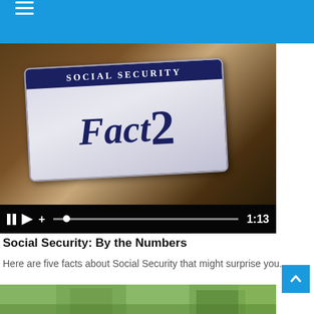[Figure (screenshot): Video player showing a Social Security card with 'Fact 2' overlaid on it, with playback controls at the bottom showing time 1:13]
Social Security: By the Numbers
Here are five facts about Social Security that might surprise you.
[Figure (photo): Partial outdoor/nature photo visible at the bottom of the page]